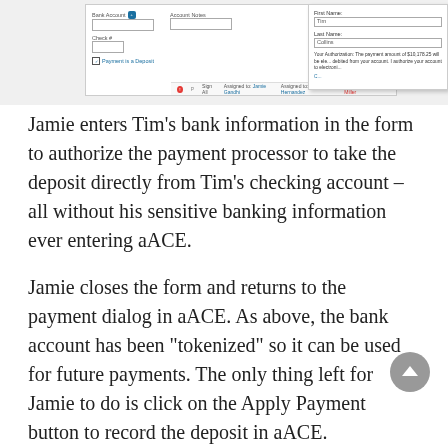[Figure (screenshot): Screenshot of a software form showing bank account fields, a cancel button, and an overlaid payment authorization panel with First Name (Tim) and Last Name (Collins) fields and authorization text about payment amount being debited from account. A bottom bar shows assignment information including Jamie Gandhi and Krista Hernandez.]
Jamie enters Tim’s bank information in the form to authorize the payment processor to take the deposit directly from Tim’s checking account – all without his sensitive banking information ever entering aACE.
Jamie closes the form and returns to the payment dialog in aACE. As above, the bank account has been “tokenized” so it can be used for future payments. The only thing left for Jamie to do is click on the Apply Payment button to record the deposit in aACE.
Days later, Jamie receives a notification that the order has